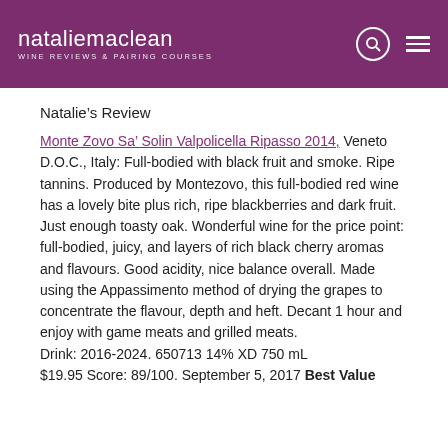nataliemaclean WINE REVIEWS & PAIRING COURSES
Natalie's Review
Monte Zovo Sa' Solin Valpolicella Ripasso 2014, Veneto D.O.C., Italy: Full-bodied with black fruit and smoke. Ripe tannins. Produced by Montezovo, this full-bodied red wine has a lovely bite plus rich, ripe blackberries and dark fruit. Just enough toasty oak. Wonderful wine for the price point: full-bodied, juicy, and layers of rich black cherry aromas and flavours. Good acidity, nice balance overall. Made using the Appassimento method of drying the grapes to concentrate the flavour, depth and heft. Decant 1 hour and enjoy with game meats and grilled meats. Drink: 2016-2024. 650713 14% XD 750 mL $19.95 Score: 89/100. September 5, 2017 Best Value